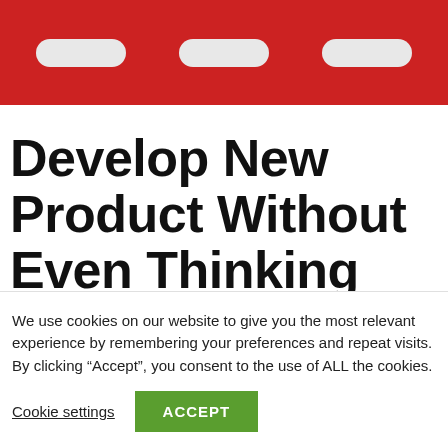[Figure (screenshot): Red navigation header bar with three rounded pill/tab shapes in light gray]
Develop New Product Without Even Thinking About the Product
We use cookies on our website to give you the most relevant experience by remembering your preferences and repeat visits. By clicking “Accept”, you consent to the use of ALL the cookies.
Cookie settings   ACCEPT